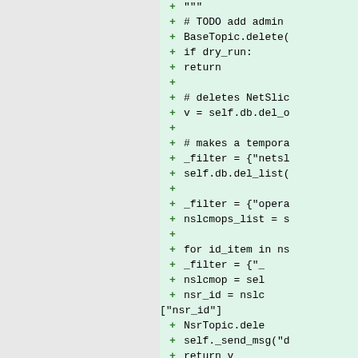[Figure (screenshot): Code diff screenshot showing added lines (green background) of Python code with + markers. Left panel is gray (empty), right panel shows green diff lines with code snippets including triple quotes, TODO comment, BaseTopic.delete call, dry_run check, NetSlic comment, db.del_o call, tempora comment, _filter dict, self.db.del_list call, opera filter, nslcmops_list assignment, for loop, _filter assignments, nslcmop assignment, nsr_id assignment, NsrTopic.dele call, self._send_msg call, and return v.]